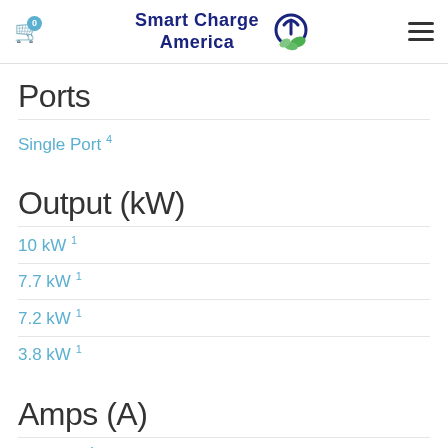Smart Charge America — Navigation header with cart (0) and menu icon
Ports
Single Port 4
Output (kW)
10 kW 1
7.7 kW 1
7.2 kW 1
3.8 kW 1
Amps (A)
16 Amps 1